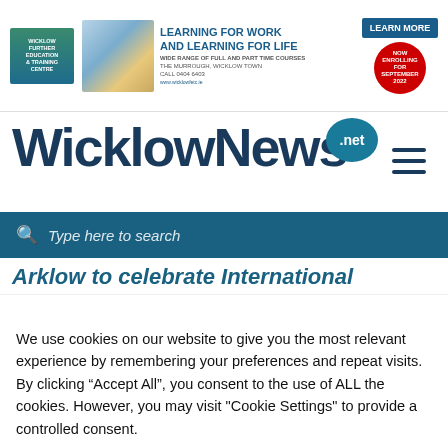[Figure (screenshot): Wicklow Further Education & Training Centre banner advertisement with logo, photo, headline 'LEARNING FOR WORK AND LEARNING FOR LIFE', Learn More button, and 'Now Enrolling for September 2022' badge]
[Figure (logo): WicklowNews.net logo with dark blue text and teal speech bubble containing '.net']
Type here to search
Arklow to celebrate International
We use cookies on our website to give you the most relevant experience by remembering your preferences and repeat visits. By clicking “Accept All”, you consent to the use of ALL the cookies. However, you may visit "Cookie Settings" to provide a controlled consent.